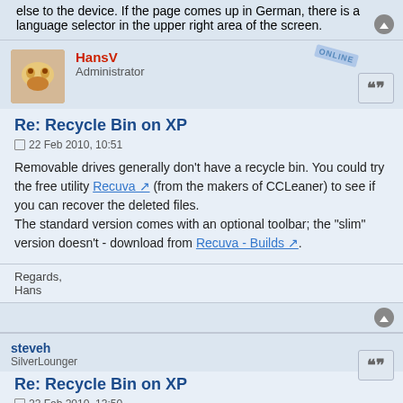else to the device. If the page comes up in German, there is a language selector in the upper right area of the screen.
HansV
Administrator
Re: Recycle Bin on XP
22 Feb 2010, 10:51
Removable drives generally don't have a recycle bin. You could try the free utility Recuva (from the makers of CCLeaner) to see if you can recover the deleted files.
The standard version comes with an optional toolbar; the "slim" version doesn't - download from Recuva - Builds.
Regards,
Hans
steveh
SilverLounger
Re: Recycle Bin on XP
22 Feb 2010, 13:50